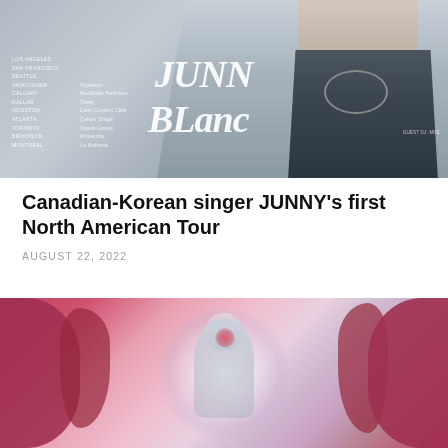[Figure (photo): Tour poster for JUNNY BLANC North American Tour showing a Korean-Canadian male singer wearing a chain necklace against a gray background. Left side lists tour cities (Los Angeles, San Francisco, Seattle, Vancouver, Calgary, Dallas, Houston, Atlanta, Toronto, Brooklyn, Montreal) with corresponding venues. Large stylized italic text reads JUNNY BLANC in white.]
Canadian-Korean singer JUNNY’s first North American Tour
AUGUST 22, 2022
[Figure (photo): Concert photo showing a performer in a spotlight with abstract pink/dark red blob shapes surrounding them on a colorful background, creating an artistic stage effect.]